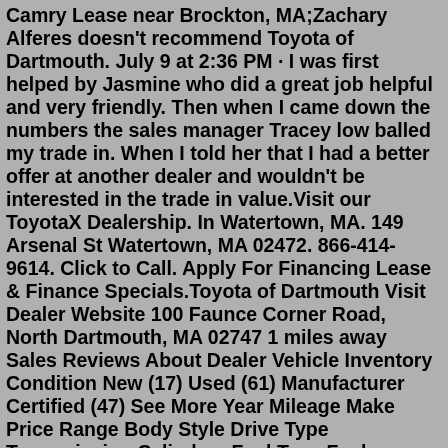Camry Lease near Brockton, MA;Zachary Alferes doesn't recommend Toyota of Dartmouth. July 9 at 2:36 PM · I was first helped by Jasmine who did a great job helpful and very friendly. Then when I came down the numbers the sales manager Tracey low balled my trade in. When I told her that I had a better offer at another dealer and wouldn't be interested in the trade in value.Visit our ToyotaX Dealership. In Watertown, MA. 149 Arsenal St Watertown, MA 02472. 866-414-9614. Click to Call. Apply For Financing Lease & Finance Specials.Toyota of Dartmouth Visit Dealer Website 100 Faunce Corner Road, North Dartmouth, MA 02747 1 miles away Sales Reviews About Dealer Vehicle Inventory Condition New (17) Used (61) Manufacturer Certified (47) See More Year Mileage Make Price Range Body Style Drive Type Transmission Cylinders Fuel Type Fuel Economy Exterior Color Interior ColorThis year's Tournament Sponsor is Toyota of Dartmouth. They have been a great supporter of our agency for many years and we appreciate their sponsorship!... 5